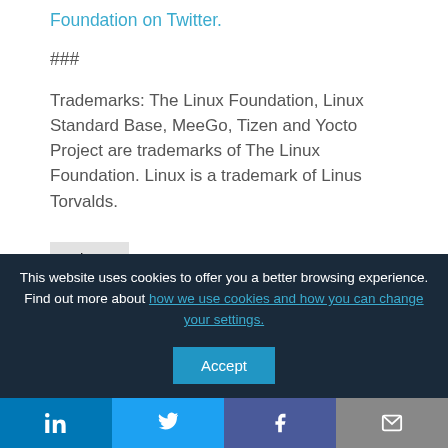Foundation on Twitter.
###
Trademarks: The Linux Foundation, Linux Standard Base, MeeGo, Tizen and Yocto Project are trademarks of The Linux Foundation. Linux is a trademark of Linus Torvalds.
About   Latest Posts
The   Follow
This website uses cookies to offer you a better browsing experience. Find out more about how we use cookies and how you can change your settings.
Accept
in  Twitter  f  Email